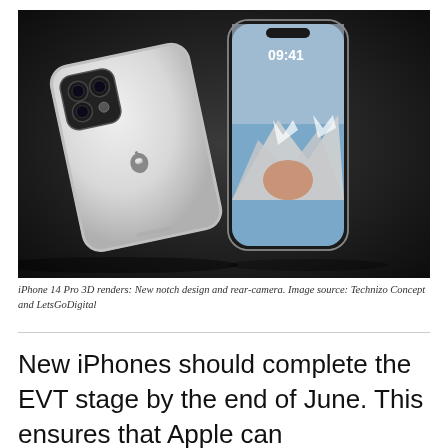[Figure (photo): iPhone 14 Pro 3D render showing two phones: one face-down revealing the triple rear camera system and Apple logo on a silver back, and one standing upright displaying the lock screen with time 09:41 and a mountainous wallpaper. Dark background.]
iPhone 14 Pro 3D renders: New notch design and rear-camera. Image source: Technizo Concept and LetsGoDigital
New iPhones should complete the EVT stage by the end of June. This ensures that Apple can manufacture the smartphones in time for the